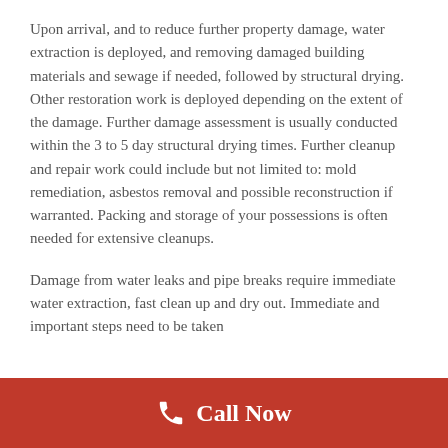Upon arrival, and to reduce further property damage, water extraction is deployed, and removing damaged building materials and sewage if needed, followed by structural drying. Other restoration work is deployed depending on the extent of the damage. Further damage assessment is usually conducted within the 3 to 5 day structural drying times. Further cleanup and repair work could include but not limited to: mold remediation, asbestos removal and possible reconstruction if warranted. Packing and storage of your possessions is often needed for extensive cleanups.
Damage from water leaks and pipe breaks require immediate water extraction, fast clean up and dry out. Immediate and important steps need to be taken
Call Now